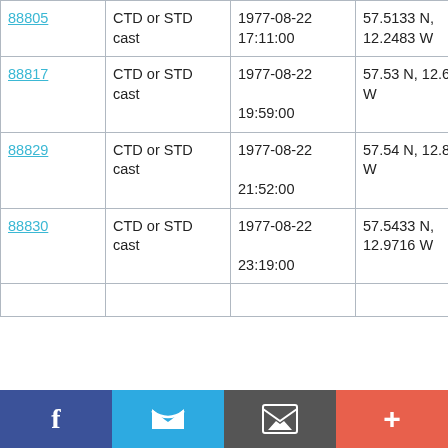| 88805 | CTD or STD cast | 1977-08-22 17:11:00 | 57.5133 N, 12.2483 W | RRS Challenger CH13/77 |
| 88817 | CTD or STD cast | 1977-08-22 19:59:00 | 57.53 N, 12.6366 W | RRS Challenger CH13/77 |
| 88829 | CTD or STD cast | 1977-08-22 21:52:00 | 57.54 N, 12.8666 W | RRS Challenger CH13/77 |
| 88830 | CTD or STD cast | 1977-08-22 23:19:00 | 57.5433 N, 12.9716 W | RRS Challenger CH13/77 |
Facebook | Twitter | Email | Add